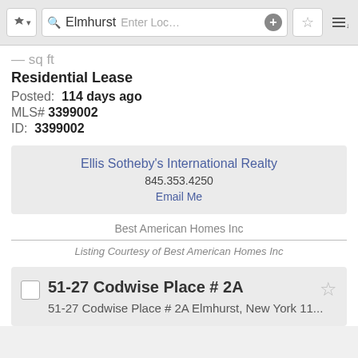[Figure (screenshot): Search bar with shield icon, Elmhurst text, location input, plus button, star button, and sort icon]
Residential Lease
Posted: 114 days ago
MLS# 3399002
ID: 3399002
Ellis Sotheby's International Realty
845.353.4250
Email Me
Best American Homes Inc
Listing Courtesy of Best American Homes Inc
51-27 Codwise Place # 2A
51-27 Codwise Place # 2A Elmhurst, New York 11...